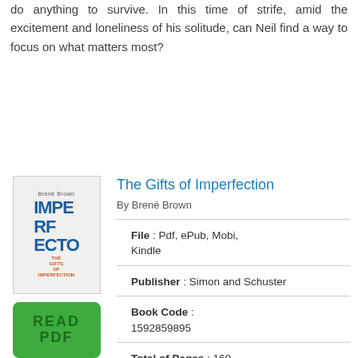do anything to survive. In this time of strife, amid the excitement and loneliness of his solitude, can Neil find a way to focus on what matters most?
The Gifts of Imperfection
By Brené Brown
[Figure (photo): Book cover of The Gifts of Imperfection showing IMPERFECTO in large letters]
[Figure (other): Green READ PDF button]
File : Pdf, ePub, Mobi, Kindle
Publisher : Simon and Schuster
Book Code : 1592859895
Total of Pages : 160